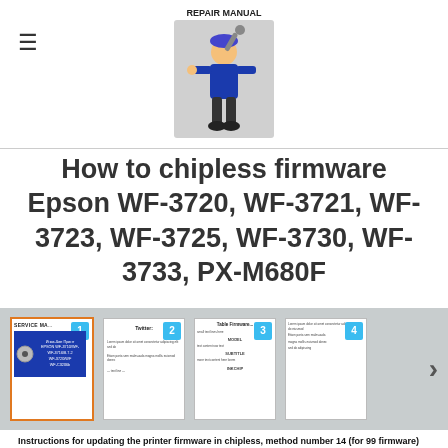[Figure (logo): Repair Manual logo with cartoon mechanic holding wrench, text REPAIR MANUAL above]
How to chipless firmware Epson WF-3720, WF-3721, WF-3723, WF-3725, WF-3730, WF-3733, PX-M680F
[Figure (screenshot): Carousel of 4 document thumbnail pages showing service manual pages, with numbered blue badges and orange border on first thumb, navigation arrow on right]
Instructions for updating the printer firmware in chipless, method number 14 (for 99 firmware)
It is suitable for epson printers on the condition of usage 99 chipless firmware.
For updating the printer firmware into a chipless one you need:
1. INKCHIP Firmware Program compatible with your printer model.
2. INKCHIP Activation Program compatible with your printer model.